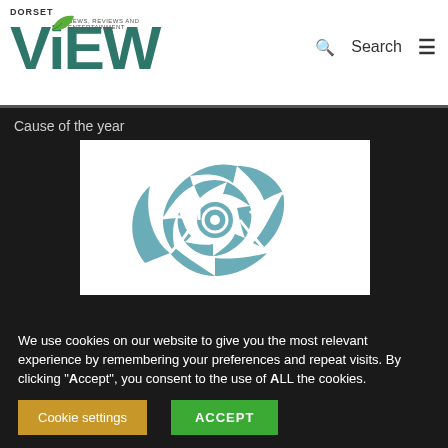DORSET ViEW – NEWS, REVIEWS AND ENTERTAINMENT
Cause of the year
[Figure (illustration): Ammonite fossil logo — a teal/blue-grey spiral shell illustration on white background]
We use cookies on our website to give you the most relevant experience by remembering your preferences and repeat visits. By clicking "Accept", you consent to the use of ALL the cookies.
Cookie settings | ACCEPT